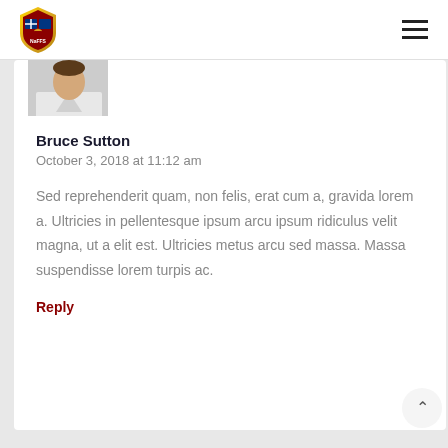NaFFS logo and navigation menu
[Figure (photo): Partially visible avatar/profile photo of a person in a white shirt, cropped at top]
Bruce Sutton
October 3, 2018 at 11:12 am
Sed reprehenderit quam, non felis, erat cum a, gravida lorem a. Ultricies in pellentesque ipsum arcu ipsum ridiculus velit magna, ut a elit est. Ultricies metus arcu sed massa. Massa suspendisse lorem turpis ac.
Reply